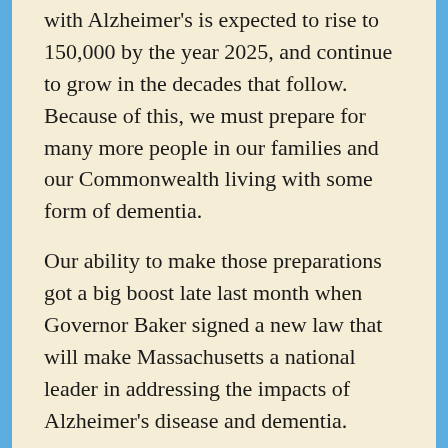with Alzheimer's is expected to rise to 150,000 by the year 2025, and continue to grow in the decades that follow. Because of this, we must prepare for many more people in our families and our Commonwealth living with some form of dementia.
Our ability to make those preparations got a big boost late last month when Governor Baker signed a new law that will make Massachusetts a national leader in addressing the impacts of Alzheimer's disease and dementia.
The law, An Act relative to Alzheimer's and related dementias, will strengthen the Commonwealth's Age and Dementia Friendly movements by:
Creating an advisory council and integrated state